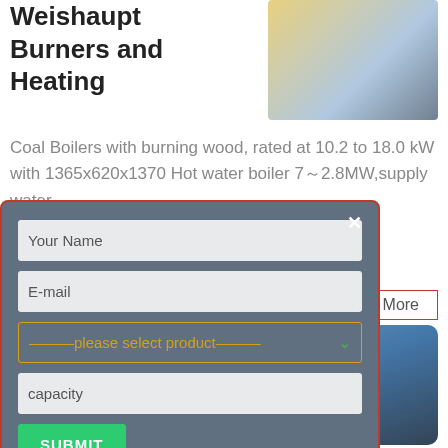Weishaupt Burners and Heating
[Figure (photo): Two images: a bowl of food and a boiler/heating unit]
Coal Boilers with burning wood, rated at 10.2 to 18.0 kW with 1365x620x1370 Hot water boiler 7～2.8MW,supply water
More
[Figure (photo): Industrial blue boiler/fire-tube boiler in a facility]
[Figure (screenshot): Contact/inquiry form with fields: Your Name, E-mail, please select product, capacity, and SUBMIT button. Has a red X close button.]
In the fire-tube type, the water surrounds the steel tubes through which hot gases from the Type of boiler: Coal fired Boiler; Heat output